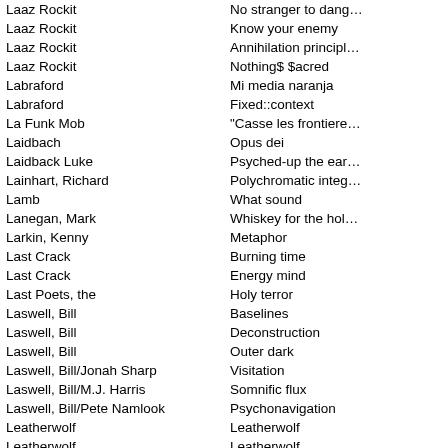| Artist | Album |
| --- | --- |
| Laaz Rockit | No stranger to dang… |
| Laaz Rockit | Know your enemy |
| Laaz Rockit | Annihilation principl… |
| Laaz Rockit | Nothing$ $acred |
| Labraford | Mi media naranja |
| Labraford | Fixed::context |
| La Funk Mob | "Casse les frontiere… |
| Laidbach | Opus dei |
| Laidback Luke | Psyched-up the ear… |
| Lainhart, Richard | Polychromatic integ… |
| Lamb | What sound |
| Lanegan, Mark | Whiskey for the hol… |
| Larkin, Kenny | Metaphor |
| Last Crack | Burning time |
| Last Crack | Energy mind |
| Last Poets, the | Holy terror |
| Laswell, Bill | Baselines |
| Laswell, Bill | Deconstruction |
| Laswell, Bill | Outer dark |
| Laswell, Bill/Jonah Sharp | Visitation |
| Laswell, Bill/M.J. Harris | Somnific flux |
| Laswell, Bill/Pete Namlook | Psychonavigation |
| Leatherwolf | Leatherwolf |
| Leatherwolf | Leatherwolf |
| Leatherwolf | Leatherwolf |
| Leatherwolf | Street ready |
| Led Zeppelin | Led zeppelin |